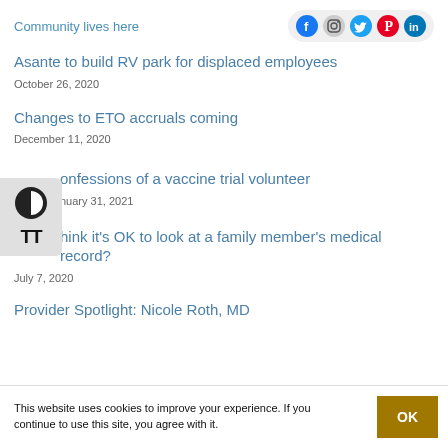Community lives here
[Figure (infographic): Social media icons for Facebook, Instagram, Twitter, Pinterest, LinkedIn in a rounded grey bar]
Asante to build RV park for displaced employees
October 26, 2020
Changes to ETO accruals coming
December 11, 2020
[Figure (other): Accessibility widget with contrast toggle and text size buttons]
Confessions of a vaccine trial volunteer
January 31, 2021
Do you think it’s OK to look at a family member’s medical record?
July 7, 2020
Provider Spotlight: Nicole Roth, MD
This website uses cookies to improve your experience. If you continue to use this site, you agree with it.